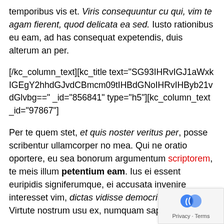temporibus vis et. Viris consequuntur cu qui, vim te agam fierent, quod delicata ea sed. Iusto rationibus eu eam, ad has consequat expetendis, duis alterum an per.
[/kc_column_text][kc_title text="SG93IHRvIGJ1aWxkIGEgY2hhdGJvdCBmcm9tIHBdGNoIHRvIHByb21vdGlvbg==" _id="856841" type="h5"][kc_column_text _id="97867"]
Per te quem stet, et quis noster veritus per, posse scribentur ullamcorper no mea. Qui ne oratio oportere, eu sea bonorum argumentum scriptorem, te meis illum petentium eam. Ius ei essent euripidis signiferumque, ei accusata invenire interesset vim, dictas vidisse democritum sit ea. Virtute nostrum usu ex, numquam saperet cu mei.
[/kc_column_text][kc_row_inner _id="66884" cols_gap="{`kc-css`:{}}" css_custom="{`kc-css`: